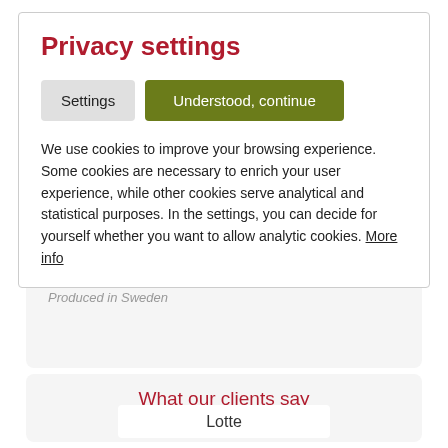Privacy settings
Settings | Understood, continue
We use cookies to improve your browsing experience. Some cookies are necessary to enrich your user experience, while other cookies serve analytical and statistical purposes. In the settings, you can decide for yourself whether you want to allow analytic cookies. More info
Produced in Sweden
What our clients say
Lotte